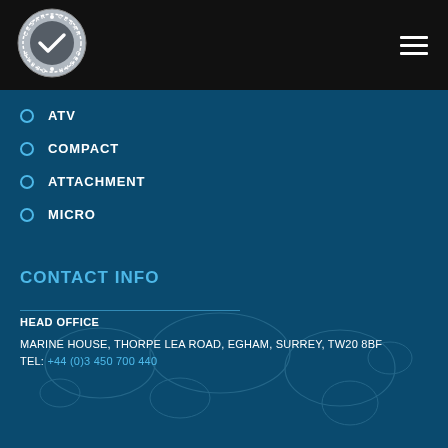[Figure (logo): CESAR circular logo with checkmark, white on dark background]
ATV
COMPACT
ATTACHMENT
MICRO
CONTACT INFO
HEAD OFFICE
MARINE HOUSE, THORPE LEA ROAD, EGHAM, SURREY, TW20 8BF
TEL: +44 (0)3 450 700 440